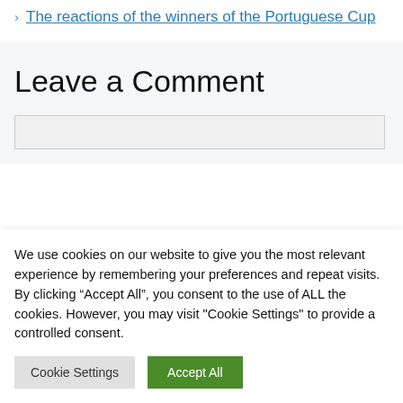> The reactions of the winners of the Portuguese Cup
Leave a Comment
We use cookies on our website to give you the most relevant experience by remembering your preferences and repeat visits. By clicking “Accept All”, you consent to the use of ALL the cookies. However, you may visit "Cookie Settings" to provide a controlled consent.
Cookie Settings | Accept All